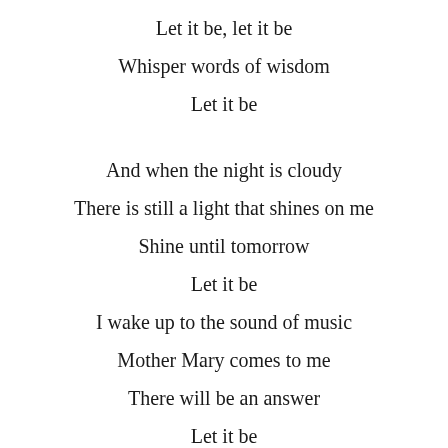Let it be, let it be
Whisper words of wisdom
Let it be
And when the night is cloudy
There is still a light that shines on me
Shine until tomorrow
Let it be
I wake up to the sound of music
Mother Mary comes to me
There will be an answer
Let it be